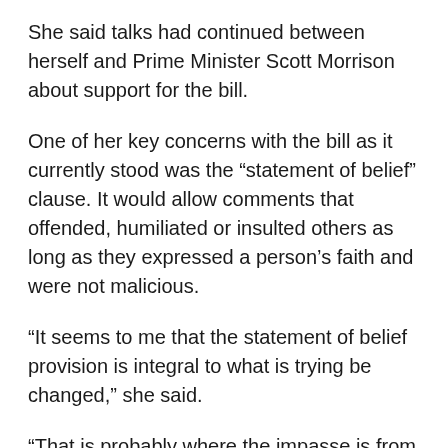She said talks had continued between herself and Prime Minister Scott Morrison about support for the bill.
One of her key concerns with the bill as it currently stood was the “statement of belief” clause. It would allow comments that offended, humiliated or insulted others as long as they expressed a person’s faith and were not malicious.
“It seems to me that the statement of belief provision is integral to what is trying be changed,” she said.
“That is probably where the impasse is from my point of view, so I don’t see how that can be